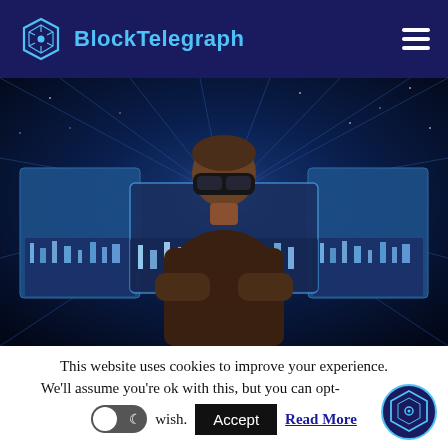BlockTelegraph
[Figure (illustration): A person wearing VR goggles/headset surrounded by glowing digital city screens and light rays, in a futuristic metaverse style illustration with blue and purple tones.]
This website uses cookies to improve your experience. We'll assume you're ok with this, but you can opt-out if you wish.
Accept
Read More